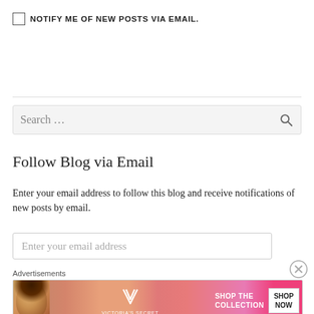NOTIFY ME OF NEW POSTS VIA EMAIL.
Search ...
Follow Blog via Email
Enter your email address to follow this blog and receive notifications of new posts by email.
Enter your email address
Advertisements
[Figure (other): Victoria's Secret advertisement banner: SHOP THE COLLECTION / SHOP NOW]